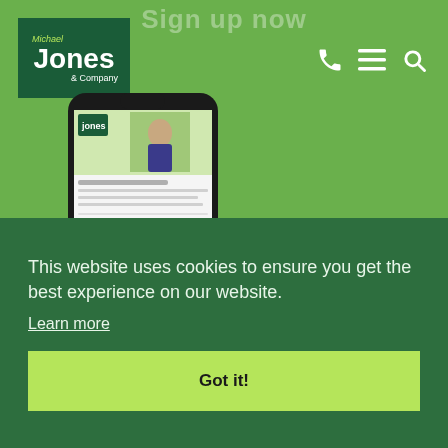Sign up now
[Figure (logo): Michael Jones & Company logo — dark green box with white text and yellow-green accent]
[Figure (screenshot): Smartphone mockup showing Michael Jones & Company newsletter email on screen, held in a hand]
This website uses cookies to ensure you get the best experience on our website.
Learn more
Got it!